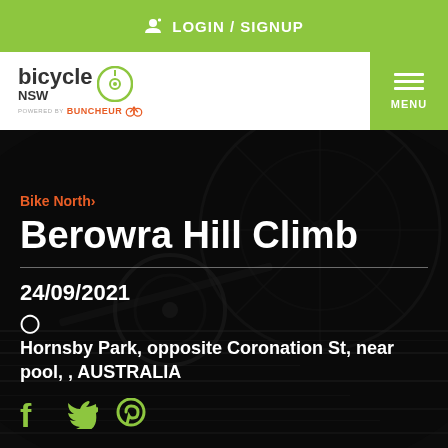LOGIN / SIGNUP
[Figure (logo): Bicycle NSW logo with circular cycling icon and 'powered by Buncheur' text below]
MENU
[Figure (photo): Dark close-up photo of bicycle gears and chain, used as hero background]
Bike North›
Berowra Hill Climb
24/09/2021
♦ Hornsby Park, opposite Coronation St, near pool, , AUSTRALIA
[Figure (infographic): Social media share icons: Facebook (f), Twitter (bird), Pinterest (p) in green color]